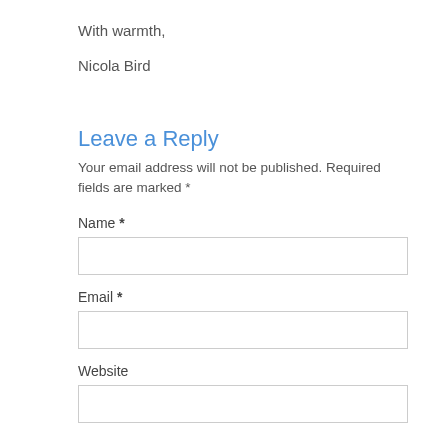With warmth,
Nicola Bird
Leave a Reply
Your email address will not be published. Required fields are marked *
Name *
Email *
Website